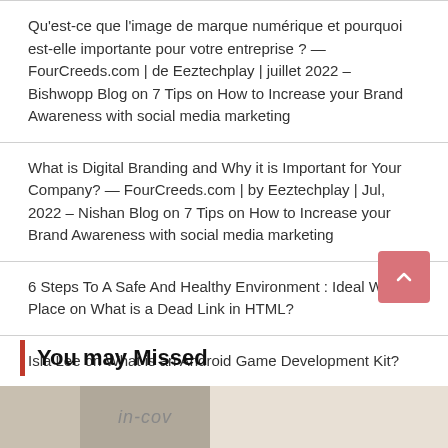Qu'est-ce que l'image de marque numérique et pourquoi est-elle importante pour votre entreprise ? — FourCreeds.com | de Eeztechplay | juillet 2022 – Bishwopp Blog on 7 Tips on How to Increase your Brand Awareness with social media marketing
What is Digital Branding and Why it is Important for Your Company? — FourCreeds.com | by Eeztechplay | Jul, 2022 – Nishan Blog on 7 Tips on How to Increase your Brand Awareness with social media marketing
6 Steps To A Safe And Healthy Environment : Ideal Work Place on What is a Dead Link in HTML?
Isla Lee on What is an Android Game Development Kit?
You may Missed
[Figure (photo): Bottom image strip showing partial photograph]